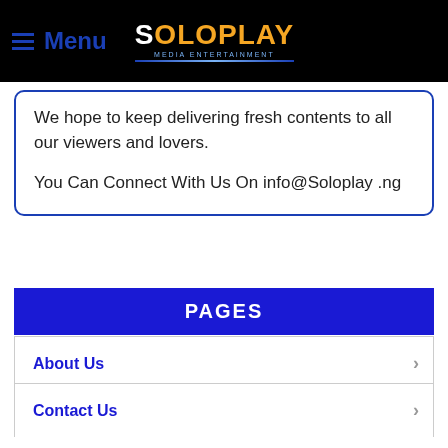Menu | SoloPlay Media Entertainment
We hope to keep delivering fresh contents to all our viewers and lovers.

You Can Connect With Us On info@Soloplay .ng
PAGES
About Us
Contact Us
Advertise
Music/Video Promotion
Privacy Policy